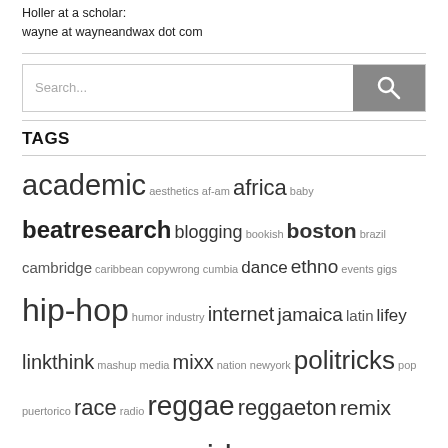Holler at a scholar:
wayne at wayneandwax dot com
academic aesthetics af-am africa baby beatresearch blogging bookish boston brazil cambridge caribbean copywrong cumbia dance ethno events gigs hip-hop humor industry internet jamaica latin lifey linkthink mashup media mixx nation newyork politricks pop puertorico race radio reggae reggaeton remix seasonal tech techno traxx video whirledmusic
TAGS
ARCHIVES